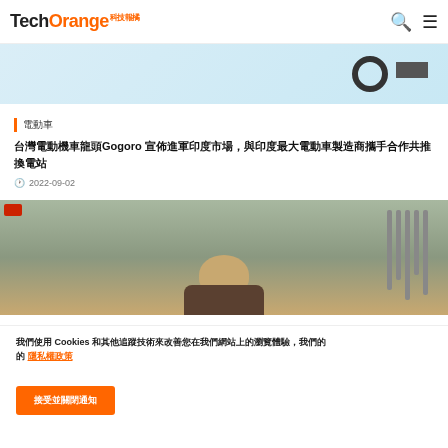TechOrange 科技報橘
[Figure (photo): Top cropped image of a scooter/vehicle on light blue background]
電動車
台灣電動機車龍頭Gogoro 宣佈進軍印度市場，與印度最大電動車製造商攜手合作共推換電站
2022-09-02
[Figure (photo): Photo of a man (Jensen Huang) speaking at what appears to be an indoor venue with large windows and architectural features in the background]
我們使用 Cookies 和其他追蹤技術來改善您在我們網站上的瀏覽體驗，我們的 隱私權政策
接受並關閉通知